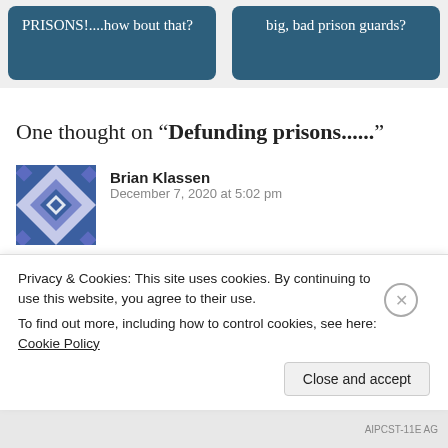[Figure (screenshot): Two teal/dark-blue rounded card buttons at the top: left card says 'PRISONS!....how bout that?' and right card says 'big, bad prison guards?']
One thought on “Defunding prisons......”
[Figure (illustration): Blue geometric pattern avatar for user Brian Klassen]
Brian Klassen
December 7, 2020 at 5:02 pm
Thank you Charles for keeping your followers informed of the deplorable conditions within our correctional
Privacy & Cookies: This site uses cookies. By continuing to use this website, you agree to their use.
To find out more, including how to control cookies, see here: Cookie Policy
Close and accept